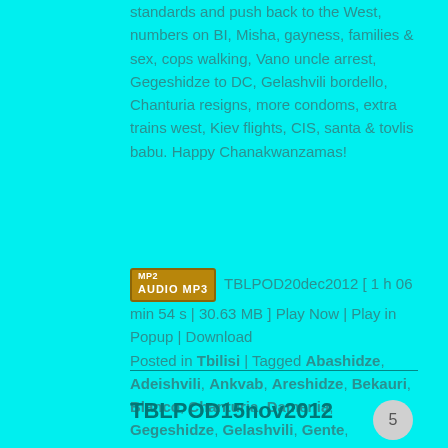standards and push back to the West, numbers on BI, Misha, gayness, families & sex, cops walking, Vano uncle arrest, Gegeshidze to DC, Gelashvili bordello, Chanturia resigns, more condoms, extra trains west, Kiev flights, CIS, santa & tovlis babu. Happy Chanakwanzamas!
TBLPOD20dec2012 [ 1 h 06 min 54 s | 30.63 MB ] Play Now | Play in Popup | Download Posted in Tbilisi | Tagged Abashidze, Adeishvili, Ankvab, Areshidze, Bekauri, Blanco, Chanturia, Damenia, Gegeshidze, Gelashvili, Gente, Gharibashvili, Gilauri, Gunava, Gvaramia, Japaridze, Kakabadze, Kalandadze, Kandelaki, Karamanishvili, Karasin, Khachidze, Khetaguri, Khintba, Kordzaia, Medvedev, Merabishvili, Minashvili, Nanetashvili, Nemsitsveridze, Okruashvili, Presley, Putin, Ramishvili, Rimple, Shevardnadze, Tsulukiani, Tumanishvili, Usupashvili, Yanukovych, Zuriashvili | 2 Replies
TBLPOD15nov2012